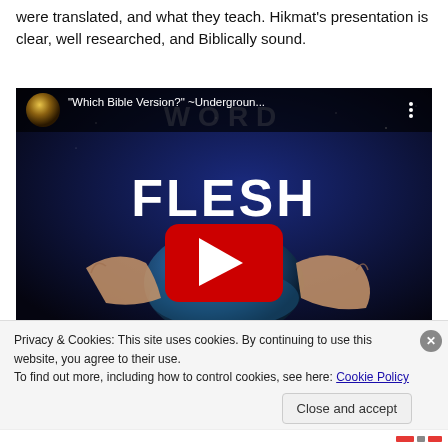were translated, and what they teach. Hikmat's presentation is clear, well researched, and Biblically sound.
[Figure (screenshot): YouTube video embed showing title 'Which Bible Version?' ~Undergrou... with a thumbnail of hands holding a glowing earth against a dark space background, with the words WORD and FLESH overlaid, and a red YouTube play button in the center]
Privacy & Cookies: This site uses cookies. By continuing to use this website, you agree to their use.
To find out more, including how to control cookies, see here: Cookie Policy
Close and accept